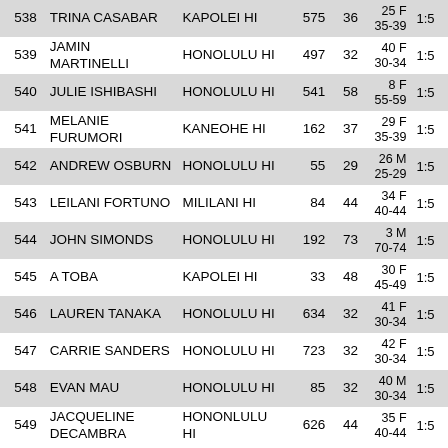| # | Name | City | Bib | Age | Div | Time |
| --- | --- | --- | --- | --- | --- | --- |
| 538 | TRINA CASABAR | KAPOLEI HI | 575 | 36 | 25 F
35-39 | 1:5 |
| 539 | JAMIN MARTINELLI | HONOLULU HI | 497 | 32 | 40 F
30-34 | 1:5 |
| 540 | JULIE ISHIBASHI | HONOLULU HI | 541 | 58 | 8 F
55-59 | 1:5 |
| 541 | MELANIE FURUMORI | KANEOHE HI | 162 | 37 | 29 F
35-39 | 1:5 |
| 542 | ANDREW OSBURN | HONOLULU HI | 55 | 29 | 26 M
25-29 | 1:5 |
| 543 | LEILANI FORTUNO | MILILANI HI | 84 | 44 | 34 F
40-44 | 1:5 |
| 544 | JOHN SIMONDS | HONOLULU HI | 192 | 73 | 3 M
70-74 | 1:5 |
| 545 | A TOBA | KAPOLEI HI | 33 | 48 | 30 F
45-49 | 1:5 |
| 546 | LAUREN TANAKA | HONOLULU HI | 634 | 32 | 41 F
30-34 | 1:5 |
| 547 | CARRIE SANDERS | HONOLULU HI | 723 | 32 | 42 F
30-34 | 1:5 |
| 548 | EVAN MAU | HONOLULU HI | 85 | 32 | 40 M
30-34 | 1:5 |
| 549 | JACQUELINE DECAMBRA | HONONLULU HI | 626 | 44 | 35 F
40-44 | 1:5 |